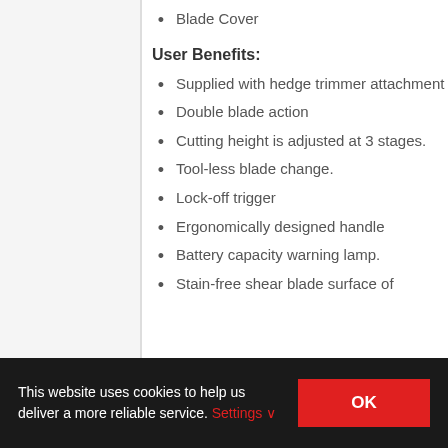Blade Cover
User Benefits:
Supplied with hedge trimmer attachment
Double blade action
Cutting height is adjusted at 3 stages.
Tool-less blade change.
Lock-off trigger
Ergonomically designed handle
Battery capacity warning lamp.
Stain-free shear blade surface of
This website uses cookies to help us deliver a more reliable service. Settings ✓